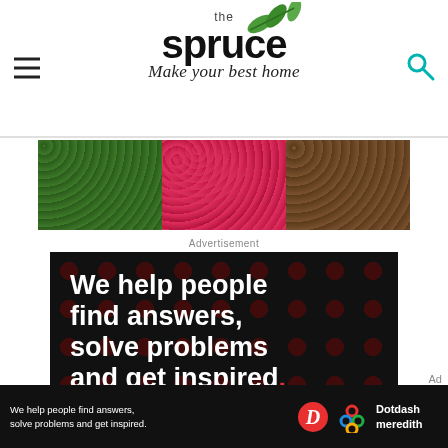the spruce — Make your best home
[Figure (photo): Banner photo with three panels: green leafy ground cover, pink/red flowers, and brown soil/dirt]
Advertisement
[Figure (infographic): Dotdash Meredith advertisement on black background with dark red dot pattern. Text reads: 'We help people find answers, solve problems and get inspired.' with 'LEARN MORE >' button and Dotdash and Meredith logos.]
[Figure (infographic): Bottom sticky ad bar: 'We help people find answers, solve problems and get inspired.' with Dotdash and Meredith logos and 'Dotdash meredith' text]